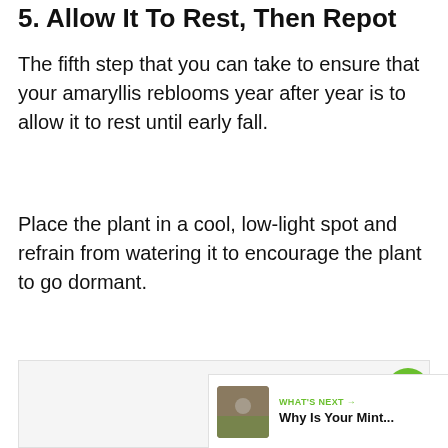5. Allow It To Rest, Then Repot
The fifth step that you can take to ensure that your amaryllis reblooms year after year is to allow it to rest until early fall.
Place the plant in a cool, low-light spot and refrain from watering it to encourage the plant to go dormant.
[Figure (photo): Image area with a light gray placeholder background, partially visible]
WHAT'S NEXT → Why Is Your Mint...